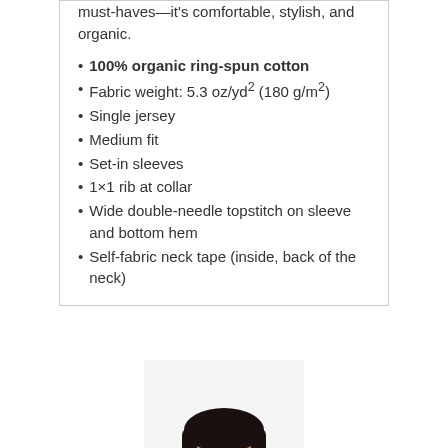must-haves—it's comfortable, stylish, and organic.
100% organic ring-spun cotton
Fabric weight: 5.3 oz/yd² (180 g/m²)
Single jersey
Medium fit
Set-in sleeves
1×1 rib at collar
Wide double-needle topstitch on sleeve and bottom hem
Self-fabric neck tape (inside, back of the neck)
[Figure (photo): Woman wearing a black t-shirt, shown from shoulders up against a white background]